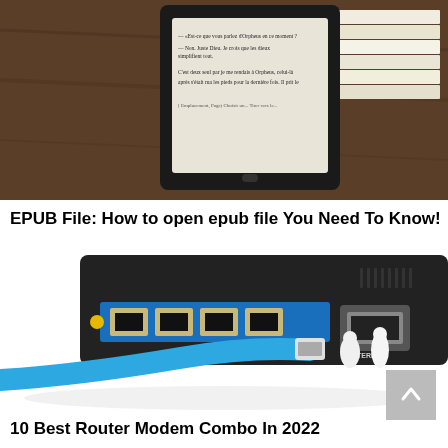[Figure (photo): E-reader device (Kindle-like) displaying text in French, placed on a wooden table with stacked books in the background]
EPUB File: How to open epub file You Need To Know!
[Figure (photo): Close-up of a black network router/modem with blue ethernet ports and a blue ethernet cable being plugged in by two miniature white figurines wearing hazmat suits. An INTERNET port is visible on the right side.]
10 Best Router Modem Combo In 2022